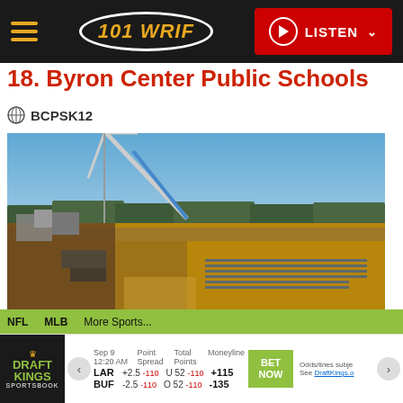101 WRIF — LISTEN
18. Byron Center Public Schools
BCPSK12
[Figure (photo): Aerial/panoramic view of a school construction site with a crane, building materials, and earthwork under a blue sky surrounded by trees.]
Byron Center Public Schools
Dear Families and Community Members, Welcome to Byron Center Public Schools. BCPS is one of the top-rated education institutions in
NFL  MLB  More Sports...  DraftKings Sportsbook  Sep 9 12:20 AM  Point Spread  Total Points  Moneyline  LAR +2.5 -110  U 52 -110  +115  BUF -2.5 -110  O 52 -110  -135  BET NOW  Odds/lines subject  See DraftKings.com